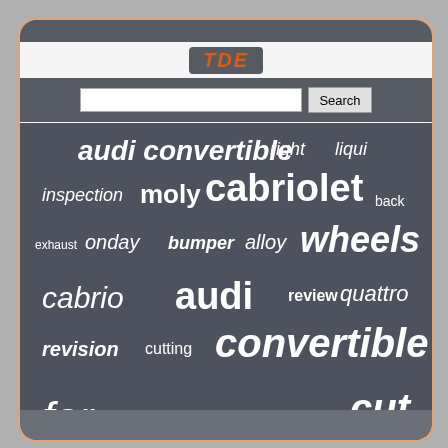[Figure (other): Word cloud on a dark blue-grey background showing automotive search terms of varying sizes. Largest words include 'cabriolet', 'wheels', 'convertible', 'coupe', 'audi'. Smaller words include 'inspection', 'moly', 'right', 'liqui', 'back', 'exhaust', 'onday', 'bumper', 'alloy', 'cabrio', 'review', 'quattro', 'revision', 'cutting', 'for', 'sport', 'left', 'original', 'cut', 'rims', '5x112', '5w-40', 'front', 'sportback', 'before', 'type', 'filter', 'oil', 'ondi'. Shown within a browser-like UI with a search bar at the top.]